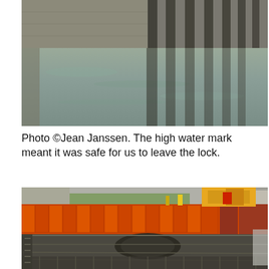[Figure (photo): Photo of a canal lock with murky water and large dark wooden or concrete pilings visible along the lock wall, reflecting in the water.]
Photo ©Jean Janssen. The high water mark meant it was safe for us to leave the lock.
[Figure (photo): Photo of lock gate machinery and construction equipment. Orange plastic barriers surround a work area with a yellow crane and heavy mechanical components of a lock gate mechanism visible, including large gears and metal framework. Metal scaffolding and railings are also visible.]